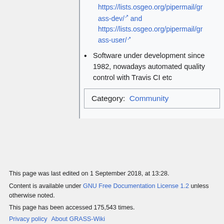https://lists.osgeo.org/pipermail/grass-dev/ and https://lists.osgeo.org/pipermail/grass-user/
Software under development since 1982, nowadays automated quality control with Travis CI etc
Category: Community
This page was last edited on 1 September 2018, at 13:28.
Content is available under GNU Free Documentation License 1.2 unless otherwise noted.
This page has been accessed 175,543 times.
Privacy policy  About GRASS-Wiki  Disclaimers